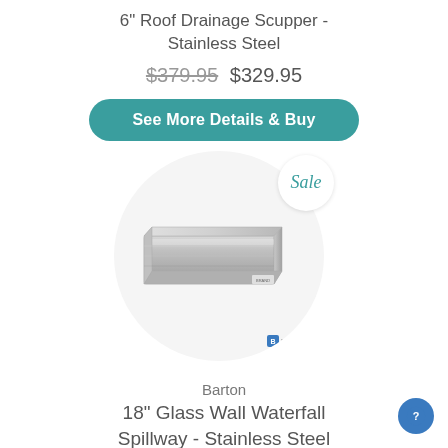6" Roof Drainage Scupper - Stainless Steel
$379.95 $329.95
See More Details & Buy
[Figure (photo): Stainless steel roof drainage scupper product photo inside a circular frame with a 'Sale' badge in the top right]
Barton 18" Glass Wall Waterfall Spillway - Stainless Steel
$999.95 $799.95